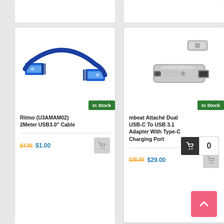[Figure (photo): Blue USB 3.0 male-to-male cable with two USB-A connectors, coiled, on white background]
In Stock
Ritmo (U3AMAM02) 2Meter USB3.0" Cable
$4.00 $1.00
[Figure (photo): Silver USB-C to USB 3.1 adapter with detachable Type-C cap, on white background]
In Stock
mbeat Attaché Dual USB-C To USB 3.1 Adapter With Type-C Charging Port
$35.00 $29.00